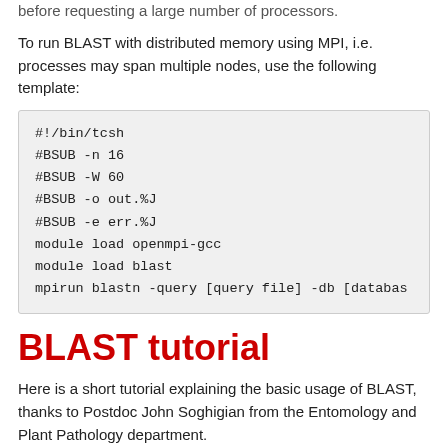before requesting a large number of processors.
To run BLAST with distributed memory using MPI, i.e. processes may span multiple nodes, use the following template:
#!/bin/tcsh
#BSUB -n 16
#BSUB -W 60
#BSUB -o out.%J
#BSUB -e err.%J
module load openmpi-gcc
module load blast
mpirun blastn -query [query file] -db [databas
BLAST tutorial
Here is a short tutorial explaining the basic usage of BLAST, thanks to Postdoc John Soghigian from the Entomology and Plant Pathology department.
The tutorial should take less than 10 minutes of